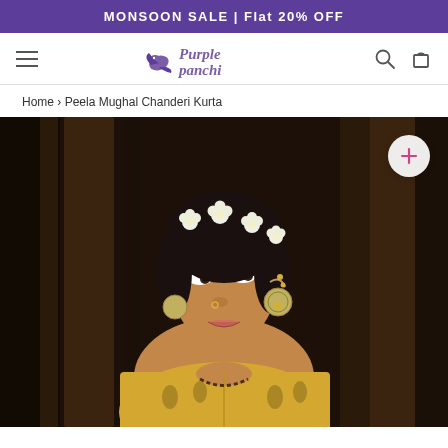MONSOON SALE | Flat 20% OFF
[Figure (logo): Purple Panchi brand logo with bird icon and stylized script text]
Home › Peela Mughal Chanderi Kurta
[Figure (photo): Indian woman wearing a yellow Mughal Chanderi Kurta with white flowers in hair, traditional jewelry, facing slightly left, product lifestyle photography]